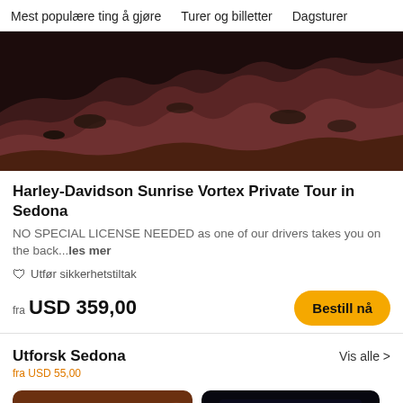Mest populære ting å gjøre   Turer og billetter   Dagsturer
[Figure (photo): Landscape photo of red rock canyon formations in Sedona, Arizona. Dark reddish-brown rocky terrain with some low vegetation visible.]
Harley-Davidson Sunrise Vortex Private Tour in Sedona
NO SPECIAL LICENSE NEEDED as one of our drivers takes you on the back...les mer
🛡 Utfør sikkerhetstiltak
fra USD 359,00
Bestill nå
Utforsk Sedona
fra USD 55,00
Vis alle >
[Figure (photo): Thumbnail photo of warm-toned orange/brown canyon rock formation, likely Antelope Canyon interior.]
[Figure (photo): Thumbnail photo with dark background showing a nighttime or dimly lit scene in Sedona.]